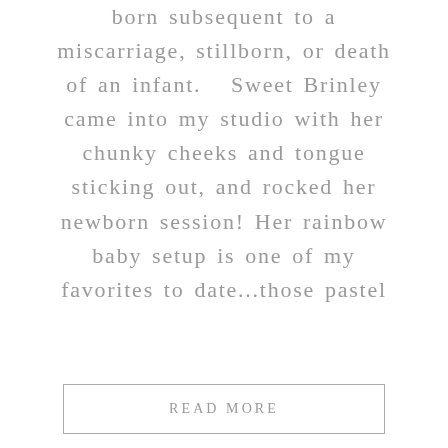born subsequent to a miscarriage, stillborn, or death of an infant.  Sweet Brinley came into my studio with her chunky cheeks and tongue sticking out, and rocked her newborn session! Her rainbow baby setup is one of my favorites to date...those pastel
READ MORE